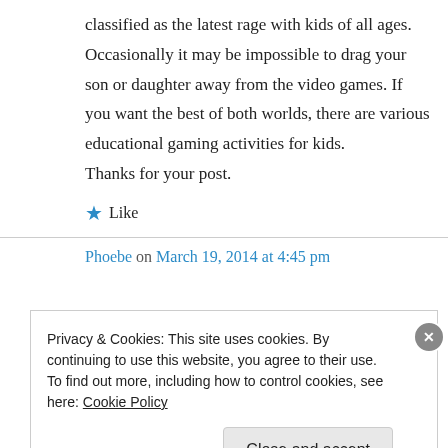classified as the latest rage with kids of all ages. Occasionally it may be impossible to drag your son or daughter away from the video games. If you want the best of both worlds, there are various educational gaming activities for kids. Thanks for your post.
★ Like
Phoebe on March 19, 2014 at 4:45 pm
Privacy & Cookies: This site uses cookies. By continuing to use this website, you agree to their use.
To find out more, including how to control cookies, see here: Cookie Policy
Close and accept